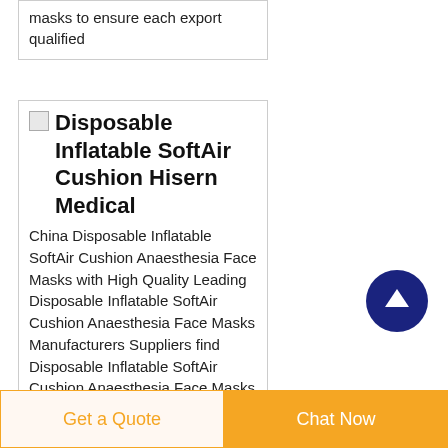masks to ensure each export qualified
Disposable Inflatable SoftAir Cushion Hisern Medical
China Disposable Inflatable SoftAir Cushion Anaesthesia Face Masks with High Quality Leading Disposable Inflatable SoftAir Cushion Anaesthesia Face Masks Manufacturers Suppliers find Disposable Inflatable SoftAir Cushion Anaesthesia Face Masks
[Figure (other): Scroll to top button — dark navy circular button with white upward arrow]
Get a Quote
Chat Now